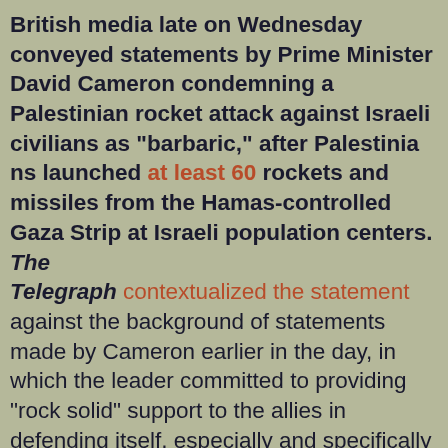British media late on Wednesday conveyed statements by Prime Minister David Cameron condemning a Palestinian rocket attack against Israeli civilians as "barbaric," after Palestinians launched at least 60 rockets and missiles from the Hamas-controlled Gaza Strip at Israeli population centers. The Telegraph contextualized the statement against the backdrop of statements made by Cameron earlier in the day, in which the leader committed to providing "rock solid" support to the allies in defending itself, especially and specifically against "destabilizing moves by Iran to provide anti-Israel terror groups with advanced weapons. The State Department issued its own statement condemning the attack "in the strongest terms" and particularly emphasized that "Israel, like any nation, has a right to defend itself." The Israeli Air Force (IAF) subsequently launched what Israeli Defense Forces Spokesman Peter Lerner described as "precise [and] proportionate" strikes of terrorist infrastructure in the Gaza Strip, reporting that it targeted "29 targets that serve those that attack Israel and its civilians"